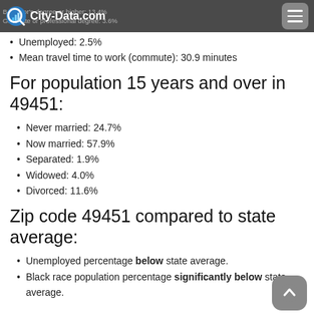City-Data.com
Bachelor's degree or higher: 13.4%
Graduate or professional degree: 3.6%
Unemployed: 2.5%
Mean travel time to work (commute): 30.9 minutes
For population 15 years and over in 49451:
Never married: 24.7%
Now married: 57.9%
Separated: 1.9%
Widowed: 4.0%
Divorced: 11.6%
Zip code 49451 compared to state average:
Unemployed percentage below state average.
Black race population percentage significantly below state average.